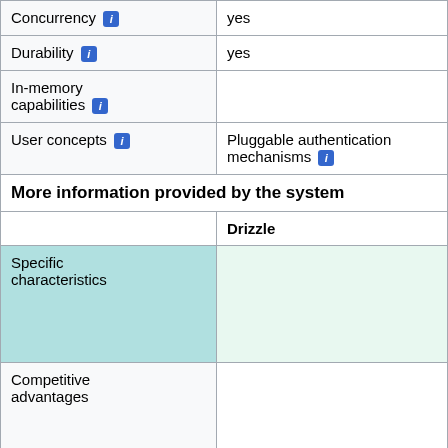|  | Drizzle |
| --- | --- |
| Concurrency [i] | yes |
| Durability [i] | yes |
| In-memory capabilities [i] |  |
| User concepts [i] | Pluggable authentication mechanisms [i] |
| More information provided by the system |  |
|  | Drizzle |
| Specific characteristics |  |
| Competitive advantages |  |